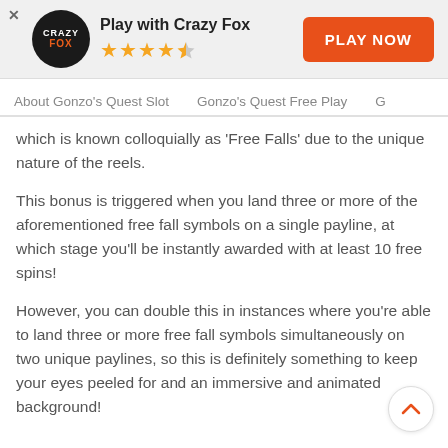[Figure (logo): Crazy Fox casino logo in a black circle with orange text, alongside 'Play with Crazy Fox' title and 4.5 star rating, and an orange 'PLAY NOW' button]
About Gonzo's Quest Slot   Gonzo's Quest Free Play   G
which is known colloquially as 'Free Falls' due to the unique nature of the reels.
This bonus is triggered when you land three or more of the aforementioned free fall symbols on a single payline, at which stage you'll be instantly awarded with at least 10 free spins!
However, you can double this in instances where you're able to land three or more free fall symbols simultaneously on two unique paylines, so this is definitely something to keep your eyes peeled for and an immersive and animated background!